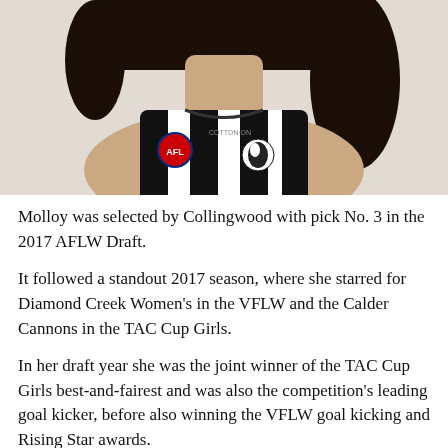[Figure (photo): Photo of a woman wearing a Collingwood AFLW jersey (black and white vertical stripes) with AFL logo and Cotton On sponsor on the jersey. Dark hair visible at top. Cropped from shoulders up.]
Molloy was selected by Collingwood with pick No. 3 in the 2017 AFLW Draft.
It followed a standout 2017 season, where she starred for Diamond Creek Women's in the VFLW and the Calder Cannons in the TAC Cup Girls.
In her draft year she was the joint winner of the TAC Cup Girls best-and-fairest and was also the competition's leading goal kicker, before also winning the VFLW goal kicking and Rising Star awards.
She continued her dominance at AFL level, winning the 2018 AFLW Rising Star Award, with a perfect total of 50 votes, and